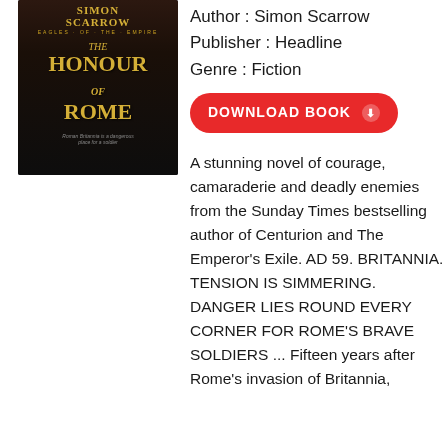[Figure (illustration): Book cover for 'The Honour of Rome' by Simon Scarrow, Eagles of the Empire series. Dark background with gold title text and decorative Roman imagery.]
Author : Simon Scarrow
Publisher : Headline
Genre : Fiction
DOWNLOAD BOOK
A stunning novel of courage, camaraderie and deadly enemies from the Sunday Times bestselling author of Centurion and The Emperor's Exile. AD 59. BRITANNIA. TENSION IS SIMMERING. DANGER LIES ROUND EVERY CORNER FOR ROME'S BRAVE SOLDIERS ... Fifteen years after Rome's invasion of Britannia,